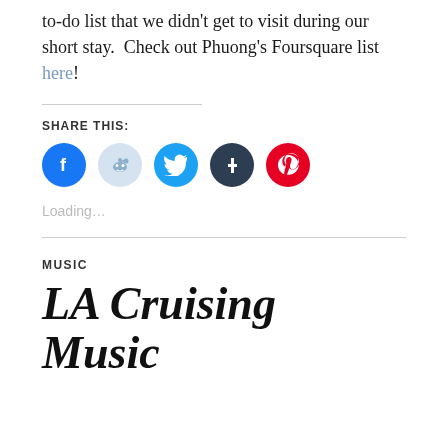to-do list that we didn't get to visit during our short stay.  Check out Phuong's Foursquare list here!
SHARE THIS:
[Figure (infographic): Row of five social media share buttons: Facebook (blue circle), Reddit (light blue circle), Twitter (cyan circle), Tumblr (dark navy circle), Pinterest (red circle)]
Loading...
MUSIC
LA Cruising Music